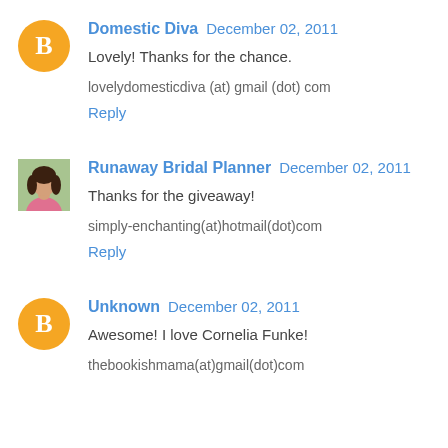Domestic Diva December 02, 2011
Lovely! Thanks for the chance.

lovelydomesticdiva (at) gmail (dot) com
Reply
Runaway Bridal Planner December 02, 2011
Thanks for the giveaway!

simply-enchanting(at)hotmail(dot)com
Reply
Unknown December 02, 2011
Awesome! I love Cornelia Funke!

thebookishmama(at)gmail(dot)com